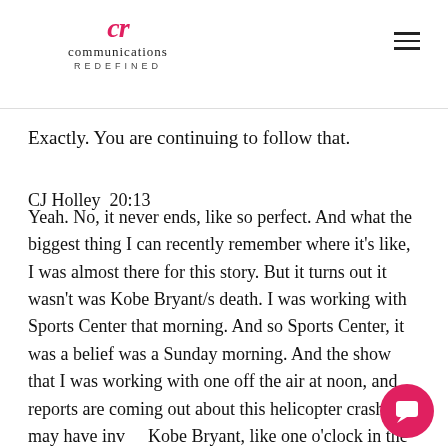CR Communications Redefined
Exactly. You are continuing to follow that.
CJ Holley  20:13
Yeah. No, it never ends, like so perfect. And what the biggest thing I can recently remember where it's like, I was almost there for this story. But it turns out it wasn't was Kobe Bryant/s death. I was working with Sports Center that morning. And so Sports Center, it was a belief was a Sunday morning. And the show that I was working with one off the air at noon, and reports are coming out about this helicopter crash that may have involved Kobe Bryant, like one o'clock in the afternoon, literally, like I got home. I was done work. I had